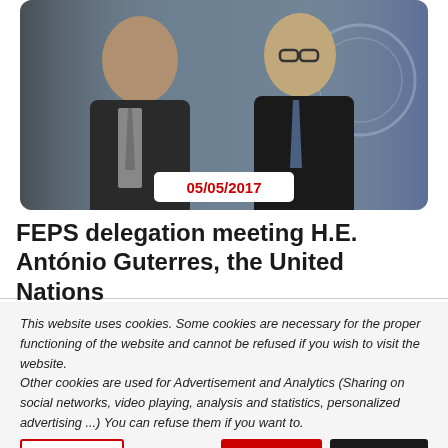[Figure (photo): Photo of FEPS delegation meeting H.E. António Guterres and other officials in front of UN logo background, with date badge 05/05/2017]
05/05/2017
FEPS delegation meeting H.E. António Guterres, the United Nations
This website uses cookies. Some cookies are necessary for the proper functioning of the website and cannot be refused if you wish to visit the website.
Other cookies are used for Advertisement and Analytics (Sharing on social networks, video playing, analysis and statistics, personalized advertising ...) You can refuse them if you want to.
Read More
ACCEPT
REJECT
Cookie settings